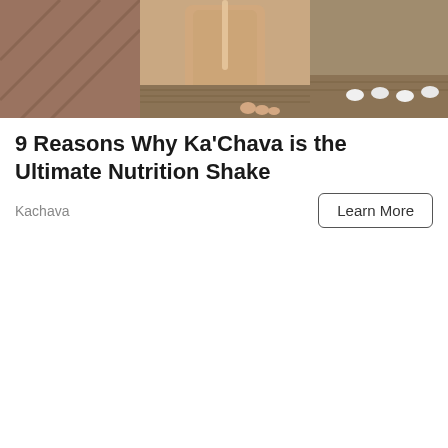[Figure (photo): A photo showing a smoothie or shake in a glass jar with a straw, placed on a wooden surface. The image is cropped showing the top portion with warm brown tones.]
9 Reasons Why Ka'Chava is the Ultimate Nutrition Shake
Kachava
Learn More